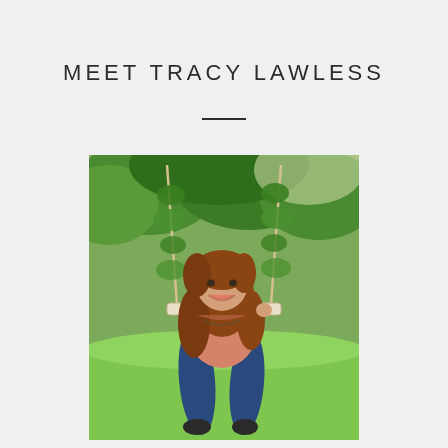MEET TRACY LAWLESS
[Figure (photo): A woman with long auburn hair sitting on a vine-covered wooden swing outdoors, smiling, wearing a salmon/pink top and dark jeans, surrounded by green trees and grass.]